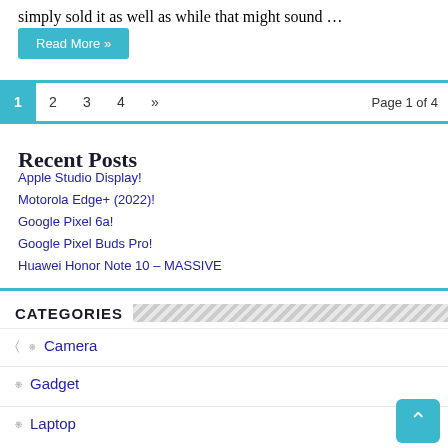simply sold it as well as while that might sound …
Read More »
1 2 3 4 » Page 1 of 4
Recent Posts
Apple Studio Display!
Motorola Edge+ (2022)!
Google Pixel 6a!
Google Pixel Buds Pro!
Huawei Honor Note 10 – MASSIVE
CATEGORIES
Camera
Gadget
Laptop